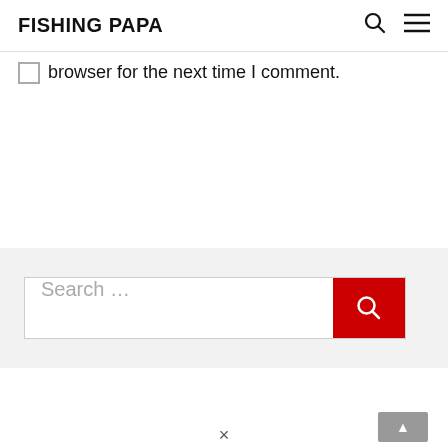FISHING PAPA
browser for the next time I comment.
POST COMMENT
Search …